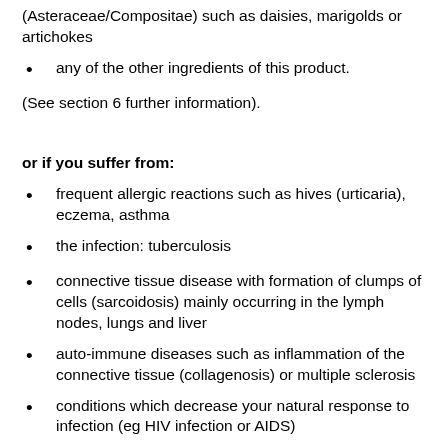(Asteraceae/Compositae) such as daisies, marigolds or artichokes
any of the other ingredients of this product.
(See section 6 further information).
or if you suffer from:
frequent allergic reactions such as hives (urticaria), eczema, asthma
the infection: tuberculosis
connective tissue disease with formation of clumps of cells (sarcoidosis) mainly occurring in the lymph nodes, lungs and liver
auto-immune diseases such as inflammation of the connective tissue (collagenosis) or multiple sclerosis
conditions which decrease your natural response to infection (eg HIV infection or AIDS)